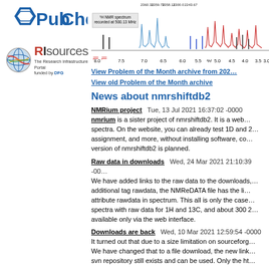[Figure (logo): PubChem logo with hexagonal ring icon and blue bold text]
[Figure (logo): RIsources logo with globe icon, bold text, tagline 'The Research Infrastructure Portal funded by DFG']
[Figure (continuous-plot): 1H NMR spectrum recorded at 500.13 MHz showing peaks between approximately 3.0 and 8.0 ppm]
View Problem of the Month archive from 202…
View old Problem of the Month archive
News about nmrshiftdb2
NMRium project    Tue, 13 Jul 2021 16:37:02 -0000
nmrium is a sister project of nmrshiftdb2. It is a web… spectra. On the website, you can already test 1D and 2… assignment, and more, without installing software, co… version of nmrshiftdb2 is planned.
Raw data in downloads    Wed, 24 Mar 2021 21:10:39 -00…
We have added links to the raw data to the downloads,… additional tag rawdata, the NMReDATA file has the li… attribute rawdata in spectrum. This all is only the case… spectra with raw data for 1H and 13C, and about 300 2… available only via the web interface.
Downloads are back    Wed, 10 Mar 2021 12:59:54 -0000
It turned out that due to a size limitation on sourceforg… We have changed that to a file download, the new link… svn repository still exists and can be used. Only the ht…